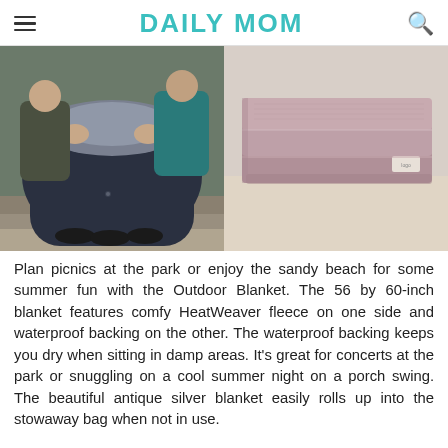DAILY MOM
[Figure (photo): Two side-by-side photos: left shows people sitting on steps sharing a dark navy outdoor blanket/sleeping bag; right shows a folded antique silver/mauve fleece blanket on a surface.]
Plan picnics at the park or enjoy the sandy beach for some summer fun with the Outdoor Blanket. The 56 by 60-inch blanket features comfy HeatWeaver fleece on one side and waterproof backing on the other. The waterproof backing keeps you dry when sitting in damp areas. It's great for concerts at the park or snuggling on a cool summer night on a porch swing. The beautiful antique silver blanket easily rolls up into the stowaway bag when not in use.